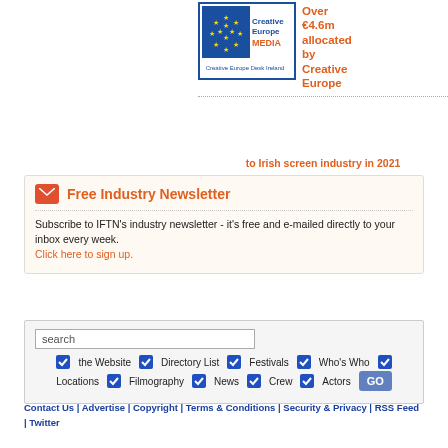[Figure (logo): Creative Europe MEDIA - Creative Europe Desk Ireland logo with EU flag]
Over €4.6m allocated by Creative Europe to Irish screen industry in 2021
Free Industry Newsletter
Subscribe to IFTN's industry newsletter - it's free and e-mailed directly to your inbox every week.
Click here to sign up.
[Figure (screenshot): Search box with checkboxes for: the Website, Directory List, Festivals, Who's Who, Locations, Filmography, News, Crew, Actors and a GO button]
Contact Us | Advertise | Copyright | Terms & Conditions | Security & Privacy | RSS Feed | Twitter